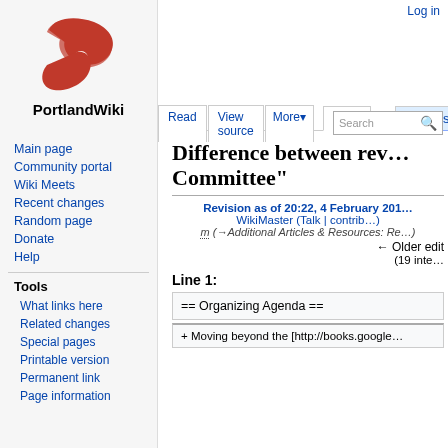Log in
[Figure (logo): PortlandWiki logo: red stylized bird/wing with circular eye element]
Difference between revisions of "... Committee"
Revision as of 20:22, 4 February 201...
WikiMaster (Talk | contrib...
m (→Additional Articles & Resources: Re...
← Older edit
(19 inte...
Line 1:
== Organizing Agenda ==
+ Moving beyond the [http://books.google...